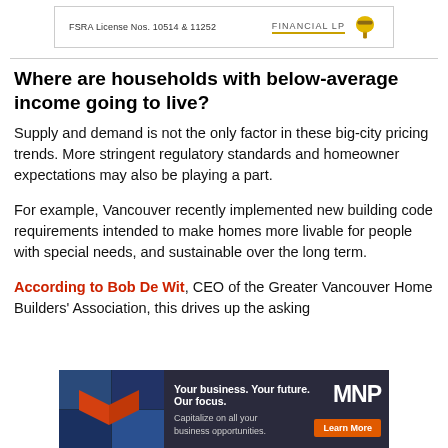FSRA License Nos. 10514 & 11252 | FINANCIAL LP
Where are households with below-average income going to live?
Supply and demand is not the only factor in these big-city pricing trends. More stringent regulatory standards and homeowner expectations may also be playing a part.
For example, Vancouver recently implemented new building code requirements intended to make homes more livable for people with special needs, and sustainable over the long term.
According to Bob De Wit, CEO of the Greater Vancouver Home Builders' Association, this drives up the asking
[Figure (advertisement): MNP advertisement: 'Your business. Your future. Our focus. Capitalize on all your business opportunities. Learn More']